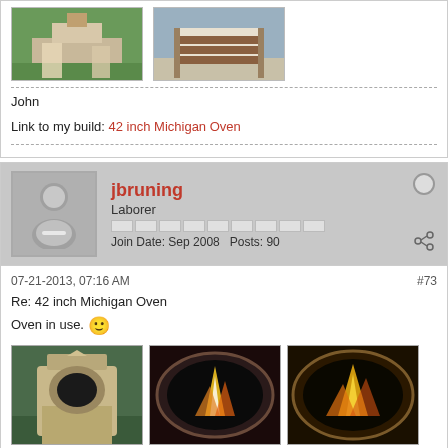[Figure (photo): Two outdoor oven/structure photos side by side at top of page]
John
Link to my build: 42 inch Michigan Oven
[Figure (photo): User avatar placeholder (silhouette)]
jbruning
Laborer
Join Date: Sep 2008  Posts: 90
07-21-2013, 07:16 AM  #73
Re: 42 inch Michigan Oven
Oven in use. 🙂
[Figure (photo): Three photos of pizza oven in use with fire visible]